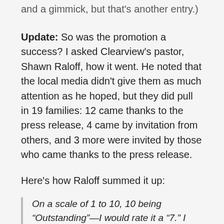and a gimmick, but that's another entry.)
Update: So was the promotion a success? I asked Clearview's pastor, Shawn Raloff, how it went. He noted that the local media didn't give them as much attention as he hoped, but they did pull in 19 families: 12 came thanks to the press release, 4 came by invitation from others, and 3 more were invited by those who came thanks to the press release.
Here's how Raloff summed it up:
On a scale of 1 to 10, 10 being “Outstanding”—I would rate it a “7.” I think the idea was sound, I think that Sioux City is just a hard town to reach out to. We have not seen incredible results here with any of the promotions we have run. All together, so far, it appears that 4 families will become members of the